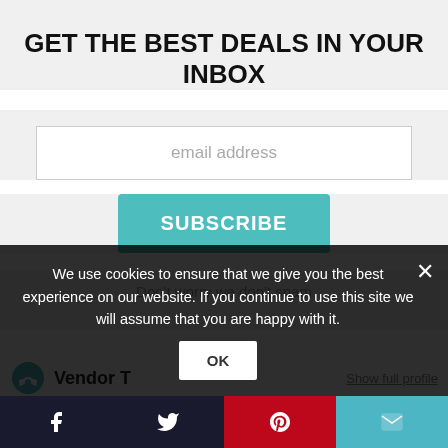GET THE BEST DEALS IN YOUR INBOX
email address
SUBSCRIBE
Don't worry we don't spam
0
Save
We use cookies to ensure that we give you the best experience on our website. If you continue to use this site we will assume that you are happy with it.
OK
Vendor T...
Show full profile